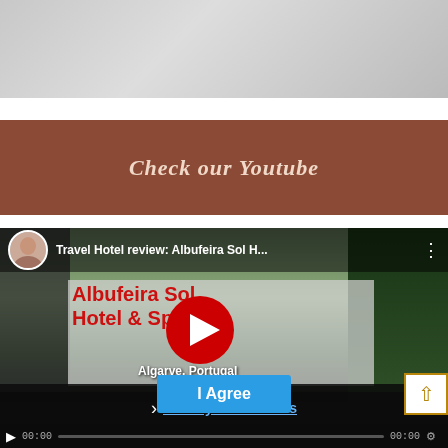[Figure (photo): Gray textured image at the top of the page, appears to be a decorative header photo]
Check our Youtube
[Figure (screenshot): YouTube video embed thumbnail showing 'Travel Hotel review: Albufeira Sol H...' with play button overlay, text 'Albufeira Sol Hotel & Spa', subtitle 'Algarve, Portugal', with a privacy preferences overlay panel showing 'Privacy Preferences' link and 'I Agree' button, plus a scroll-up button in the bottom right corner]